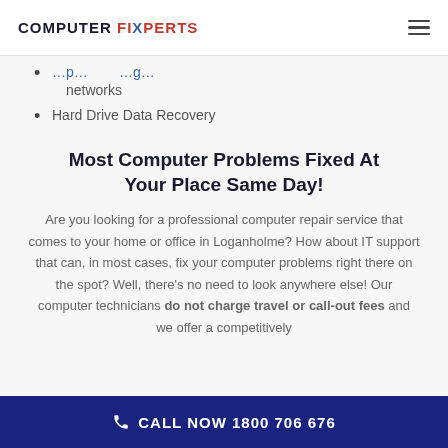COMPUTER FIXPERTS
networks
Hard Drive Data Recovery
Most Computer Problems Fixed At Your Place Same Day!
Are you looking for a professional computer repair service that comes to your home or office in Loganholme? How about IT support that can, in most cases, fix your computer problems right there on the spot? Well, there’s no need to look anywhere else! Our computer technicians do not charge travel or call-out fees and we offer a competitively priced flat rate service...
CALL NOW 1800 706 676